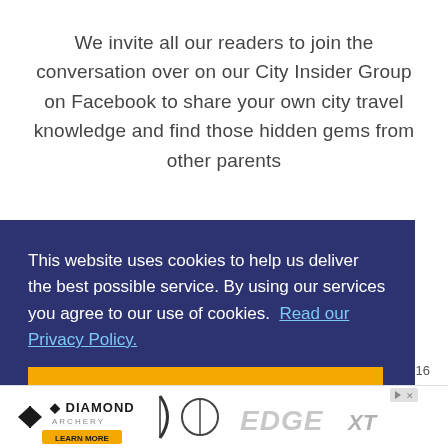We invite all our readers to join the conversation over on our City Insider Group on Facebook to share your own city travel knowledge and find those hidden gems from other parents
This website uses cookies to help us deliver the best possible service. By using our services you agree to our use of cookies.  Read our Privacy Policy.
Got it!
[Figure (other): Diamond Archery advertisement banner showing EDGE XT product with archery equipment image, Learn More button, and close/play controls]